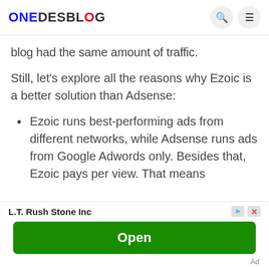ONEDESBLOG
blog had the same amount of traffic.
Still, let's explore all the reasons why Ezoic is a better solution than Adsense:
Ezoic runs best-performing ads from different networks, while Adsense runs ads from Google Adwords only. Besides that, Ezoic pays per view. That means
[Figure (screenshot): Advertisement banner: L.T. Rush Stone Inc with an Open button and Ad label]